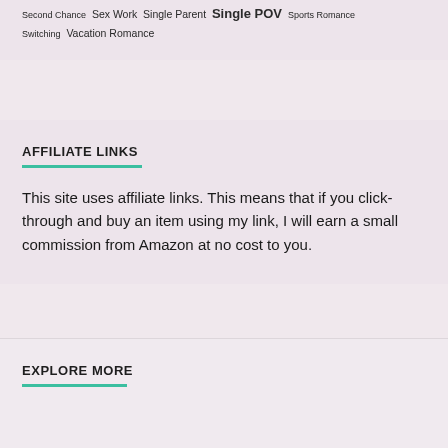Second Chance  Sex Work  Single Parent  Single POV  Sports Romance  Switching  Vacation Romance
AFFILIATE LINKS
This site uses affiliate links. This means that if you click-through and buy an item using my link, I will earn a small commission from Amazon at no cost to you.
EXPLORE MORE